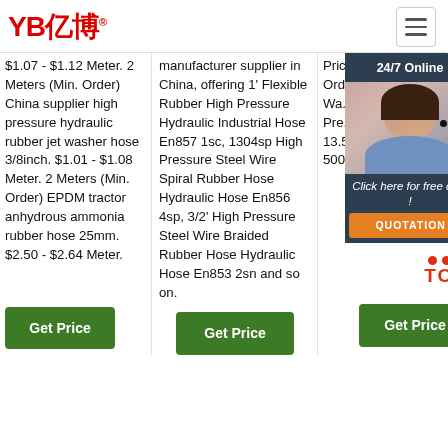YB亿博 logo and hamburger menu
$1.07 - $1.12 Meter. 2 Meters (Min. Order) China supplier high pressure hydraulic rubber jet washer hose 3/8inch. $1.01 - $1.08 Meter. 2 Meters (Min. Order) EPDM tractor anhydrous ammonia rubber hose 25mm. $2.50 - $2.64 Meter.
manufacturer supplier in China, offering 1' Flexible Rubber High Pressure Hydraulic Industrial Hose En857 1sc, 1304sp High Pressure Steel Wire Spiral Rubber Hose Hydraulic Hose En856 4sp, 3/2' High Pressure Steel Wire Braided Rubber Hose Hydraulic Hose En853 2sn and so on.
Price: US $12.34-32.4... Ord... Met... No... Rub... Wa... Suc... Dis... Gra... Pre... Ind... FO... $0.5-13.5 Meter. Min. Order: 500 Meters.
[Figure (photo): Customer service representative with headset, 24/7 Online chat overlay with QUOTATION button]
Get Price (column 1)
Get Price (column 2)
Get Price (column 3)